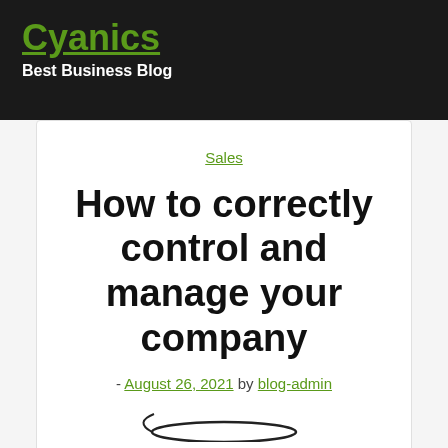Cyanics
Best Business Blog
Sales
How to correctly control and manage your company
- August 26, 2021 by blog-admin